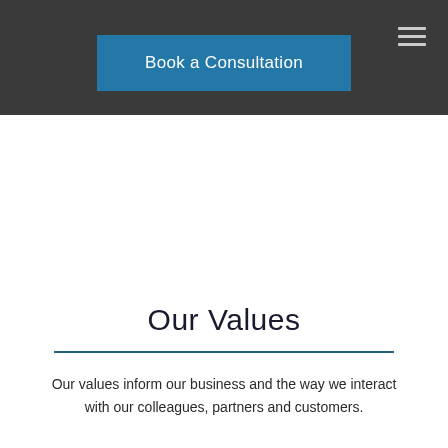Book a Consultation
Our Values
Our values inform our business and the way we interact with our colleagues, partners and customers.